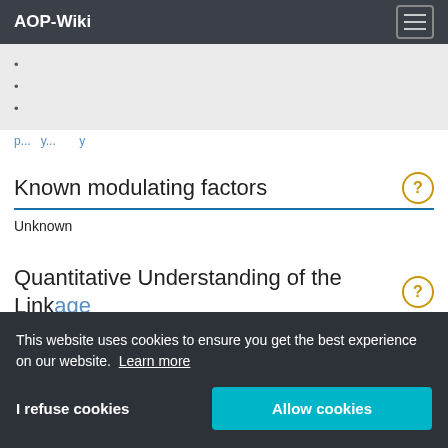AOP-Wiki
•
•
•
(truncated link text)
Known modulating factors
Unknown
Quantitative Understanding of the Linkage
Our d... fact that... studies into how... quantitatively... cell m...
This website uses cookies to ensure you get the best experience on our website. Learn more
I refuse cookies
Allow cookies